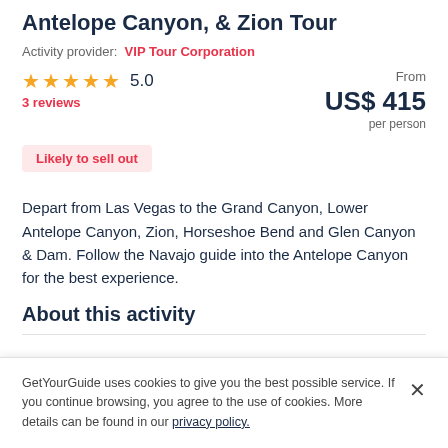Antelope Canyon, & Zion Tour
Activity provider: VIP Tour Corporation
★ ★ ★ ★ ★ 5.0
3 reviews
From US$ 415 per person
Likely to sell out
Depart from Las Vegas to the Grand Canyon, Lower Antelope Canyon, Zion, Horseshoe Bend and Glen Canyon & Dam. Follow the Navajo guide into the Antelope Canyon for the best experience.
About this activity
GetYourGuide uses cookies to give you the best possible service. If you continue browsing, you agree to the use of cookies. More details can be found in our privacy policy.